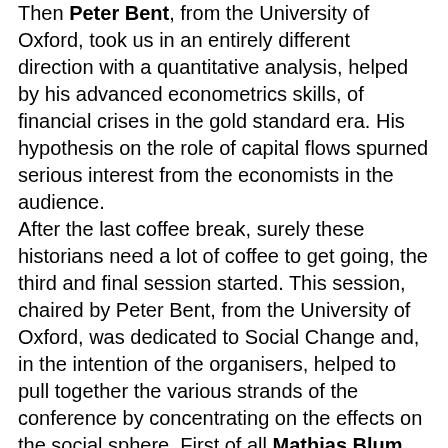Then Peter Bent, from the University of Oxford, took us in an entirely different direction with a quantitative analysis, helped by his advanced econometrics skills, of financial crises in the gold standard era. His hypothesis on the role of capital flows spurned serious interest from the economists in the audience.
After the last coffee break, surely these historians need a lot of coffee to get going, the third and final session started. This session, chaired by Peter Bent, from the University of Oxford, was dedicated to Social Change and, in the intention of the organisers, helped to pull together the various strands of the conference by concentrating on the effects on the social sphere. First of all Mathias Blum, from Queen's University, Belfast, presented Irish anthropometric data from the period of the "potato famine". The surprising results, that the Irish which not migrated displayed greater heights and so greater living standards, prompted a lively discussion with many different explanation proposed by the audience. The last paper of the conference was presented by Iida Saarinen from the University of Edinburgh, and it dealt with the life histories of the Scottish Roman Catholic seminarians and how to complete their studies they had to spend an